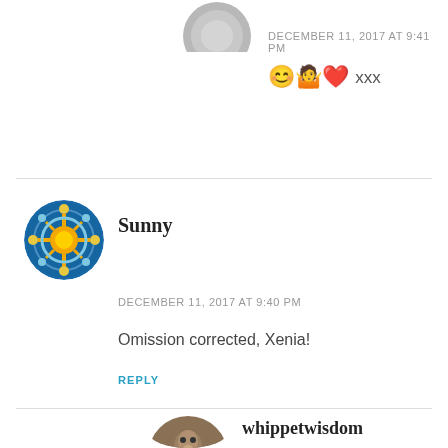[Figure (photo): Partial circular avatar at top of page, grey/neutral tones]
DECEMBER 11, 2017 AT 9:41 PM
😊🤷❤️ xxx
[Figure (photo): Circular mandala avatar with sun pattern in blue and gold]
Sunny
DECEMBER 11, 2017 AT 9:40 PM
Omission corrected, Xenia!
REPLY
[Figure (photo): Circular avatar showing a whippet dog in sandy/brown tones]
whippetwisdom